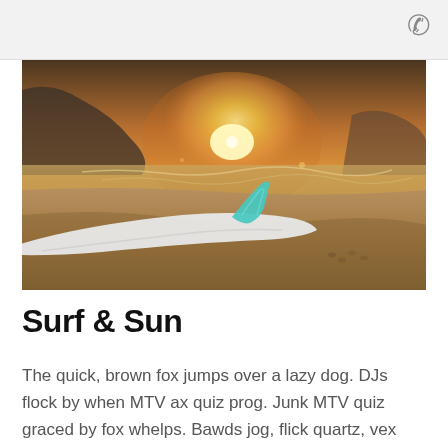[Figure (photo): A surfboard with a teal fin lying on a sandy beach at sunset/golden hour, with misty cliffs and ocean waves in the background.]
Surf & Sun
The quick, brown fox jumps over a lazy dog. DJs flock by when MTV ax quiz prog. Junk MTV quiz graced by fox whelps. Bawds jog, flick quartz, vex nymphs. Waltz, bad